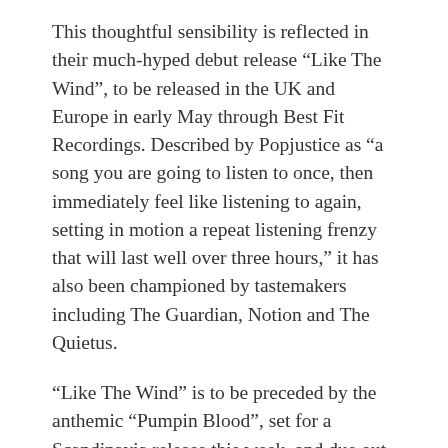This thoughtful sensibility is reflected in their much-hyped debut release “Like The Wind”, to be released in the UK and Europe in early May through Best Fit Recordings. Described by Popjustice as “a song you are going to listen to once, then immediately feel like listening to again, setting in motion a repeat listening frenzy that will last well over three hours,” it has also been championed by tastemakers including The Guardian, Notion and The Quietus.
“Like The Wind” is to be preceded by the anthemic “Pumpin Blood”, set for a Scandinavia release this week, and due out in the UK and the rest of Europe early summer. Having previously been described by The Guardian as “the kind of percussion-heavy, gloom-tinged pop which brought Niki & The Dove to the masses last year”, this track swerves the group in a new direction, with its overwhelmingly positive sentiment and rousing